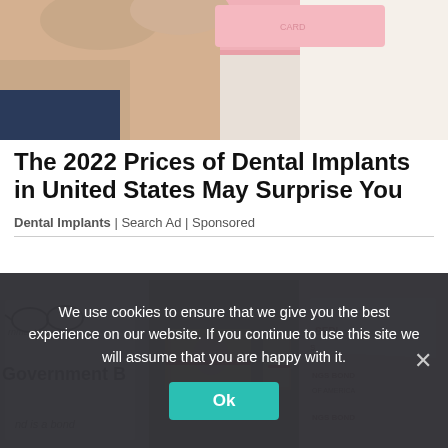[Figure (photo): Partial view of hands holding a pink/red rectangular object, cropped at top]
The 2022 Prices of Dental Implants in United States May Surprise You
Dental Implants | Search Ad | Sponsored
[Figure (photo): Three-panel collage: left panel shows government bond document with glasses, middle panel shows stacks of US $100 bills with rubber bands, right panel shows US Savings Bonds]
We use cookies to ensure that we give you the best experience on our website. If you continue to use this site we will assume that you are happy with it.